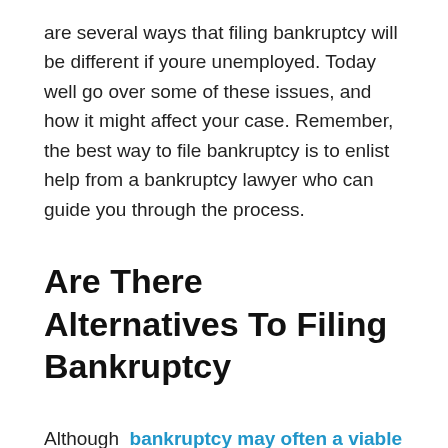are several ways that filing bankruptcy will be different if youre unemployed. Today well go over some of these issues, and how it might affect your case. Remember, the best way to file bankruptcy is to enlist help from a bankruptcy lawyer who can guide you through the process.
Are There Alternatives To Filing Bankruptcy
Although bankruptcy may often a viable option for many , there are alternatives to bankruptcy to consider. Debt consolidation is one way to avoid filing bankruptcy. Also, debt settlement can give you the relief you need without filing bankruptcy, but just be wary of the debt settlement option .
If you just need a planner to help you get debt freedom